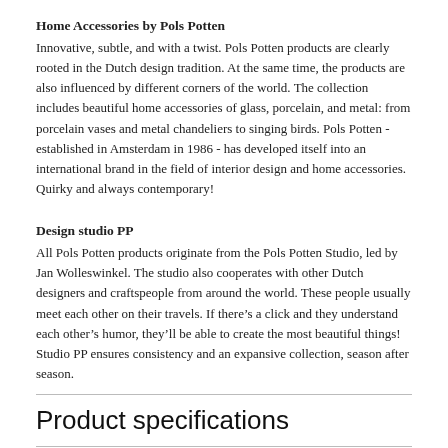Home Accessories by Pols Potten
Innovative, subtle, and with a twist. Pols Potten products are clearly rooted in the Dutch design tradition. At the same time, the products are also influenced by different corners of the world. The collection includes beautiful home accessories of glass, porcelain, and metal: from porcelain vases and metal chandeliers to singing birds. Pols Potten - established in Amsterdam in 1986 - has developed itself into an international brand in the field of interior design and home accessories. Quirky and always contemporary!
Design studio PP
All Pols Potten products originate from the Pols Potten Studio, led by Jan Wolleswinkel. The studio also cooperates with other Dutch designers and craftspeople from around the world. These people usually meet each other on their travels. If there’s a click and they understand each other’s humor, they’ll be able to create the most beautiful things! Studio PP ensures consistency and an expansive collection, season after season.
Product specifications
Reviews